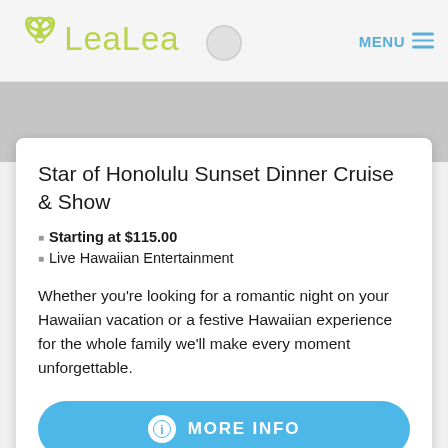LeaLea  MENU
[Figure (screenshot): Gray banner/image placeholder area below nav bar]
Star of Honolulu Sunset Dinner Cruise & Show
Starting at $115.00
Live Hawaiian Entertainment
Whether you’re looking for a romantic night on your Hawaiian vacation or a festive Hawaiian experience for the whole family we’ll make every moment unforgettable.
MORE INFO